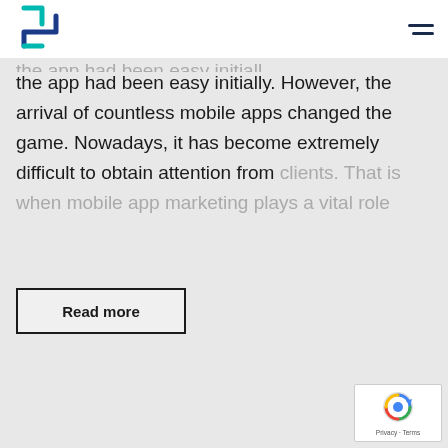[Figure (logo): Blue and teal zigzag/arrow logo mark]
the app had been easy initially. However, the arrival of countless mobile apps changed the game. Nowadays, it has become extremely difficult to obtain attention from clients. That is when mobile app marketing plays a vital role
Read more